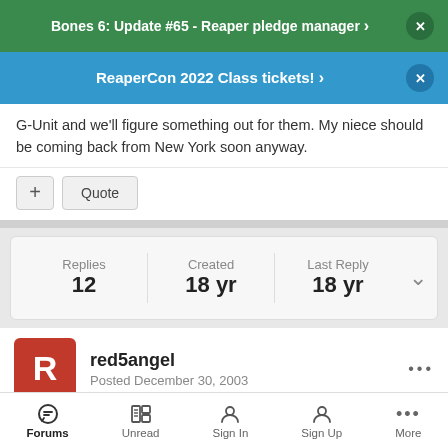Bones 6: Update #65 - Reaper pledge manager
ReaperCon 2022 Class tickets!
G-Unit and we'll figure something out for them. My niece should be coming back from New York soon anyway.
+ Quote
| Replies | Created | Last Reply |
| --- | --- | --- |
| 12 | 18 yr | 18 yr |
red5angel
Posted December 30, 2003
Forums  Unread  Sign In  Sign Up  More